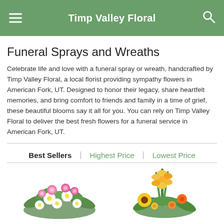Timp Valley Floral
Funeral Sprays and Wreaths
Celebrate life and love with a funeral spray or wreath, handcrafted by Timp Valley Floral, a local florist providing sympathy flowers in American Fork, UT. Designed to honor their legacy, share heartfelt memories, and bring comfort to friends and family in a time of grief, these beautiful blooms say it all for you. You can rely on Timp Valley Floral to deliver the best fresh flowers for a funeral service in American Fork, UT.
Best Sellers | Highest Price | Lowest Price
[Figure (photo): Two flower arrangement photos side by side — left: pink and white funeral spray with roses and daisies; right: yellow and orange funeral spray with sunflowers and gladioli]